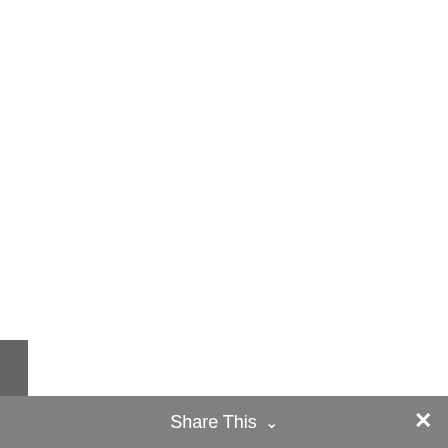n Fleet & Pamel
Share This ∨  ×